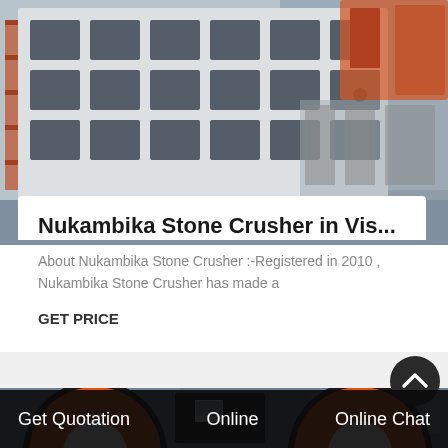[Figure (photo): Large white stone crusher machine in a factory setting, with rectangular grid of openings on the body, black base legs, and a red forklift visible in the background]
Nukambika Stone Crusher in Vis...
About Nukambika Stone Crusher :-Registered in 2010 , Nukambika Stone Crusher has made a
GET PRICE
[Figure (photo): Stone crusher machine showing large orange and black rotating wheels/pulleys with belt drive, in a factory environment with Chinese signage in background]
Get Quotation    Online    Online Chat